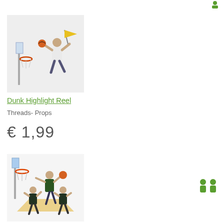[Figure (illustration): Small green person icon in top right corner]
[Figure (illustration): Game avatar character dunking a basketball near a hoop, holding a yellow flag, on light gray background]
Dunk Highlight Reel
Threads- Props
€ 1,99
[Figure (illustration): Two game avatar characters playing basketball near a hoop on a wooden court floor, on light background]
[Figure (illustration): Two green people icons in bottom right corner]
Hang Time